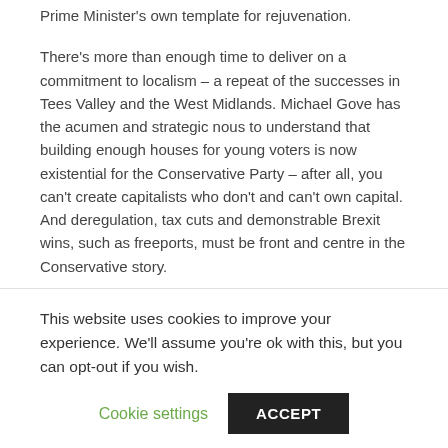Prime Minister’s own template for rejuvenation.
There’s more than enough time to deliver on a commitment to localism – a repeat of the successes in Tees Valley and the West Midlands. Michael Gove has the acumen and strategic nous to understand that building enough houses for young voters is now existential for the Conservative Party – after all, you can’t create capitalists who don’t and can’t own capital. And deregulation, tax cuts and demonstrable Brexit wins, such as freeports, must be front and centre in the Conservative story.
The voters don’t care for Singapore on the Thames, but they generally favour traditional Tory values.The
This website uses cookies to improve your experience. We'll assume you're ok with this, but you can opt-out if you wish.